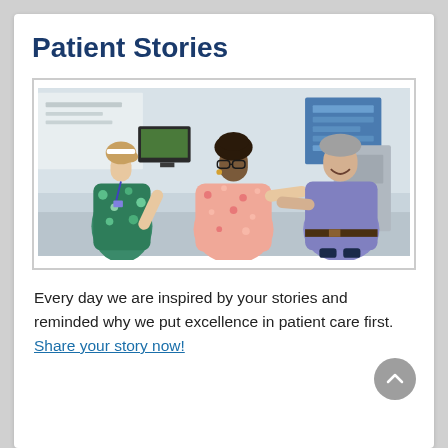Patient Stories
[Figure (photo): A nurse in colorful scrubs, a smiling woman in a pink floral top, and an older man in a purple polo shirt interacting warmly in a hospital setting.]
Every day we are inspired by your stories and reminded why we put excellence in patient care first. Share your story now!